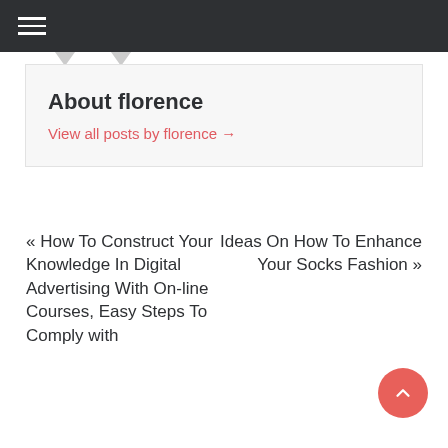About florence
View all posts by florence →
« How To Construct Your Knowledge In Digital Advertising With On-line Courses, Easy Steps To Comply with
Ideas On How To Enhance Your Socks Fashion »